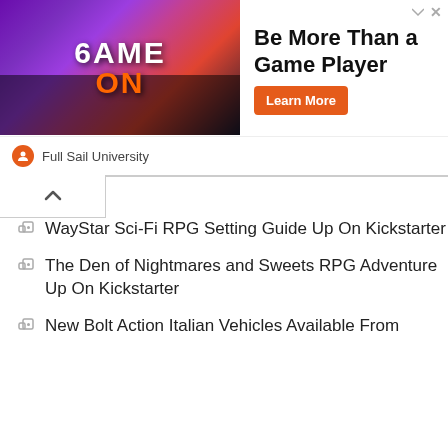[Figure (screenshot): Advertisement banner for Full Sail University with gaming image on left, headline 'Be More Than a Game Player', orange 'Learn More' button, and Full Sail University logo/text.]
WayStar Sci-Fi RPG Setting Guide Up On Kickstarter
The Den of Nightmares and Sweets RPG Adventure Up On Kickstarter
New Bolt Action Italian Vehicles Available From
[Figure (logo): YouTube logo with red play button rectangle and black YouTube text]
[Figure (logo): Facebook 'Find me on facebook' badge button]
[Figure (other): Blue scroll-to-top up-arrow button]